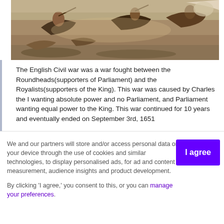[Figure (illustration): A painting depicting a battle scene from the English Civil War, showing figures on horseback in combat, with chaotic movement and muted earthy tones.]
The English Civil war was a war fought between the Roundheads(supporters of Parliament) and the Royalists(supporters of the King). This war was caused by Charles the I wanting absolute power and no Parliament, and Parliament wanting equal power to the King. This war continued for 10 years and eventually ended on September 3rd, 1651
We and our partners will store and/or access personal data on your device through the use of cookies and similar technologies, to display personalised ads, for ad and content measurement, audience insights and product development.

By clicking 'I agree,' you consent to this, or you can manage your preferences.